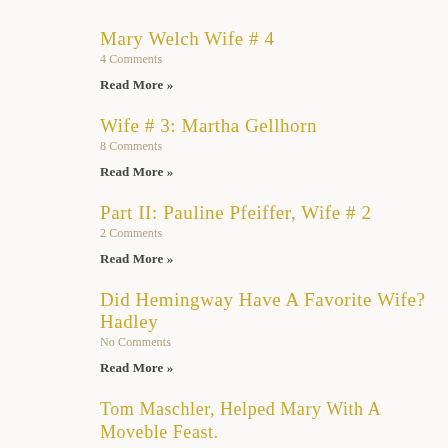Mary Welch Wife # 4
4 Comments
Read More »
Wife # 3: Martha Gellhorn
8 Comments
Read More »
Part II: Pauline Pfeiffer, Wife # 2
2 Comments
Read More »
Did Hemingway Have A Favorite Wife? Hadley
No Comments
Read More »
Tom Maschler, Helped Mary With A Moveble Feast. (Some Photos Added By Me.) Aside From The Hemingway Connection, He Had Quite A Life...